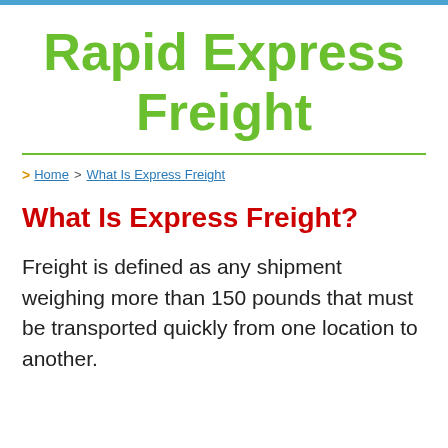Rapid Express Freight
> Home > What Is Express Freight
What Is Express Freight?
Freight is defined as any shipment weighing more than 150 pounds that must be transported quickly from one location to another.